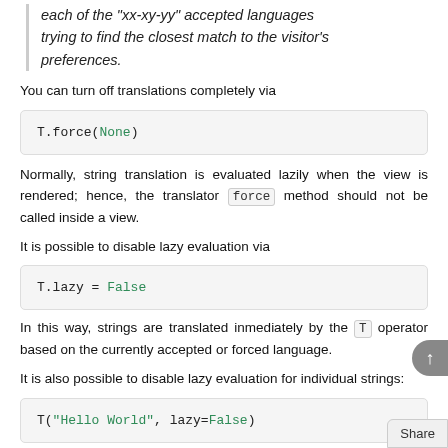each of the "xx-xy-yy" accepted languages trying to find the closest match to the visitor's preferences.
You can turn off translations completely via
T.force(None)
Normally, string translation is evaluated lazily when the view is rendered; hence, the translator force method should not be called inside a view.
It is possible to disable lazy evaluation via
T.lazy = False
In this way, strings are translated inmediately by the T operator based on the currently accepted or forced language.
It is also possible to disable lazy evaluation for individual strings:
T("Hello World", lazy=False)